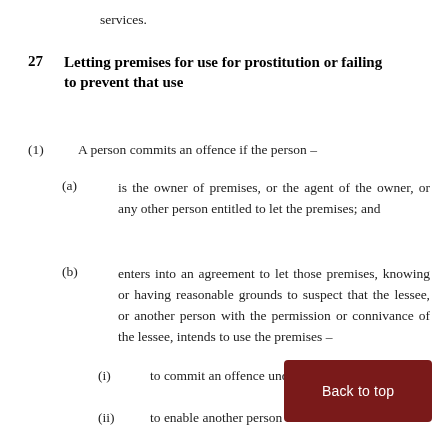services.
27   Letting premises for use for prostitution or failing to prevent that use
(1)   A person commits an offence if the person –
(a)   is the owner of premises, or the agent of the owner, or any other person entitled to let the premises; and
(b)   enters into an agreement to let those premises, knowing or having reasonable grounds to suspect that the lessee, or another person with the permission or connivance of the lessee, intends to use the premises –
(i)   to commit an offence under Article 16, 22,
(ii)   to enable another person to commit such an